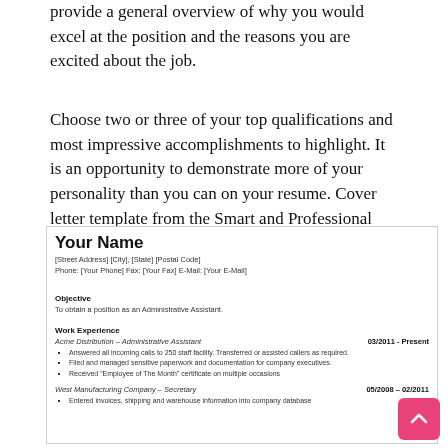provide a general overview of why you would excel at the position and the reasons you are excited about the job.
Choose two or three of your top qualifications and most impressive accomplishments to highlight. It is an opportunity to demonstrate more of your personality than you can on your resume. Cover letter template from the Smart and Professional Premium Pack Header section.
[Figure (other): Resume template showing: Your Name header with address/phone/fax/email placeholder fields, Objective section stating 'To obtain a position as an Administrative Assistant.', Work Experience section with Acme Distribution – Administrative Assistant (03/2011 – Present) with three bullet points, and West Manufacturing Company – Secretary (05/2008 – 02/2011) with one visible bullet point.]